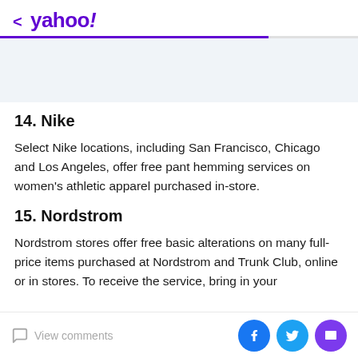< yahoo!
14. Nike
Select Nike locations, including San Francisco, Chicago and Los Angeles, offer free pant hemming services on women's athletic apparel purchased in-store.
15. Nordstrom
Nordstrom stores offer free basic alterations on many full-price items purchased at Nordstrom and Trunk Club, online or in stores. To receive the service, bring in your
View comments